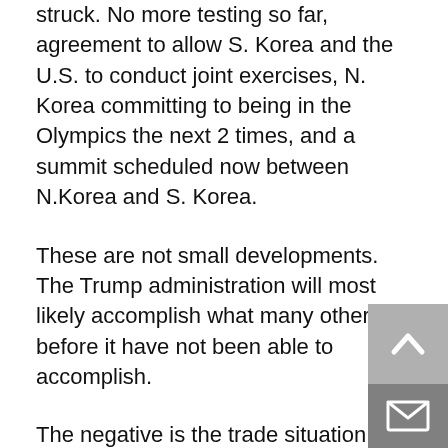struck. No more testing so far, agreement to allow S. Korea and the U.S. to conduct joint exercises, N. Korea committing to being in the Olympics the next 2 times, and a summit scheduled now between N.Korea and S. Korea.
These are not small developments. The Trump administration will most likely accomplish what many others before it have not been able to accomplish.
The negative is the trade situation between the U.S. and China. However, China's response so far has been extremely muted. Yes, they announced increased tariffs but the size was minuscule. My guess is that once the agreement is made with N. Korea to denuclearize the U.S. will sit down with China and reach a deal on trade. That should be by the end of April.